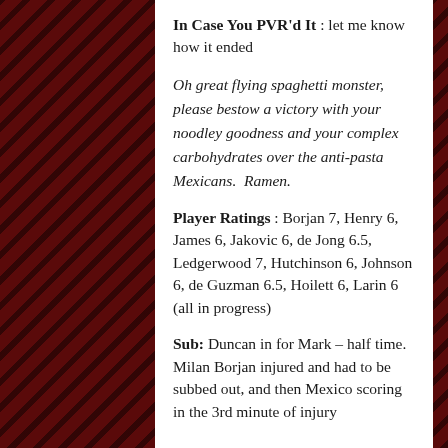In Case You PVR'd It : let me know how it ended
Oh great flying spaghetti monster, please bestow a victory with your noodley goodness and your complex carbohydrates over the anti-pasta Mexicans.  Ramen.
Player Ratings : Borjan 7, Henry 6, James 6, Jakovic 6, de Jong 6.5, Ledgerwood 7, Hutchinson 6, Johnson 6, de Guzman 6.5, Hoilett 6, Larin 6 (all in progress)
Sub: Duncan in for Mark – half time.  Milan Borjan injured and had to be subbed out, and then Mexico scoring in the 3rd minute of injury...